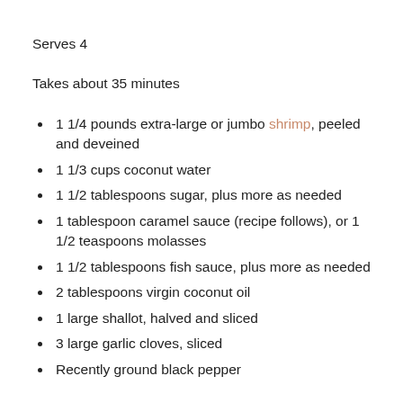Serves 4
Takes about 35 minutes
1 1/4 pounds extra-large or jumbo shrimp, peeled and deveined
1 1/3 cups coconut water
1 1/2 tablespoons sugar, plus more as needed
1 tablespoon caramel sauce (recipe follows), or 1 1/2 teaspoons molasses
1 1/2 tablespoons fish sauce, plus more as needed
2 tablespoons virgin coconut oil
1 large shallot, halved and sliced
3 large garlic cloves, sliced
Recently ground black pepper